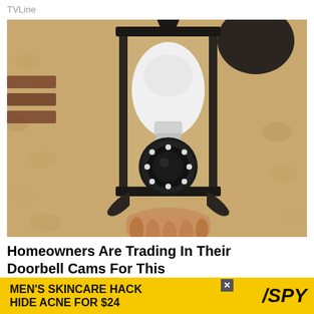TVLine
[Figure (photo): A hand installing a security camera shaped like a light bulb into an outdoor wall lantern fixture mounted on a textured stucco wall.]
Homeowners Are Trading In Their Doorbell Cams For This
Camerca
Learn M
X
MEN'S SKINCARE HACK HIDE ACNE FOR $24 /SPY